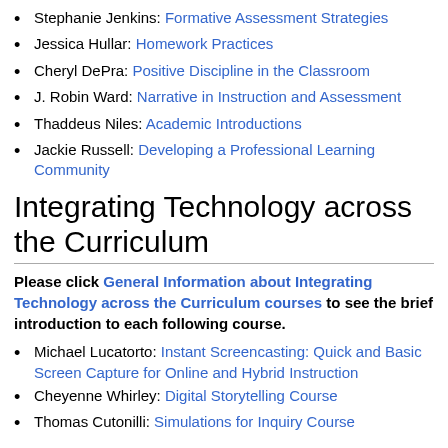Stephanie Jenkins: Formative Assessment Strategies
Jessica Hullar: Homework Practices
Cheryl DePra: Positive Discipline in the Classroom
J. Robin Ward: Narrative in Instruction and Assessment
Thaddeus Niles: Academic Introductions
Jackie Russell: Developing a Professional Learning Community
Integrating Technology across the Curriculum
Please click General Information about Integrating Technology across the Curriculum courses to see the brief introduction to each following course.
Michael Lucatorto: Instant Screencasting: Quick and Basic Screen Capture for Online and Hybrid Instruction
Cheyenne Whirley: Digital Storytelling Course
Thomas Cutonilli: Simulations for Inquiry Course